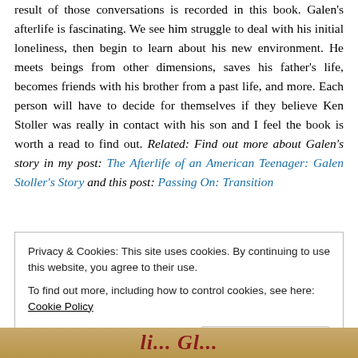result of those conversations is recorded in this book. Galen's afterlife is fascinating. We see him struggle to deal with his initial loneliness, then begin to learn about his new environment. He meets beings from other dimensions, saves his father's life, becomes friends with his brother from a past life, and more. Each person will have to decide for themselves if they believe Ken Stoller was really in contact with his son and I feel the book is worth a read to find out. Related: Find out more about Galen's story in my post: The Afterlife of an American Teenager: Galen Stoller's Story and this post: Passing On: Transition
Privacy & Cookies: This site uses cookies. By continuing to use this website, you agree to their use. To find out more, including how to control cookies, see here: Cookie Policy
Close and accept
[Figure (photo): Bottom portion of a book cover with reddish italic text on a tan/golden background]